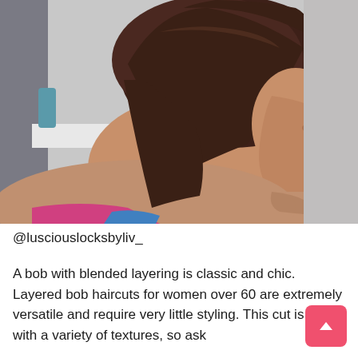[Figure (photo): Side/back profile of an older woman with a short layered bob haircut in dark brown/auburn color, facing right. Background shows a salon or bathroom setting with light gray walls. She is wearing a colorful top.]
@lusciouslocksbyliv_
A bob with blended layering is classic and chic. Layered bob haircuts for women over 60 are extremely versatile and require very little styling. This cut is great with a variety of textures, so ask